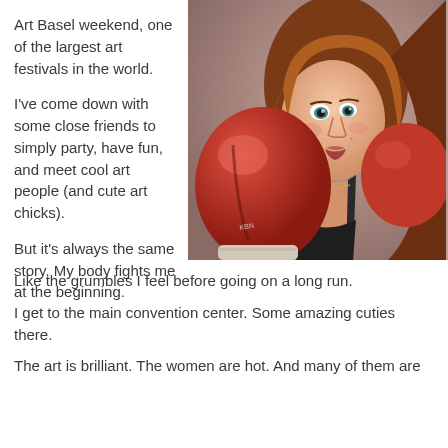Art Basel weekend, one of the largest art festivals in the world.
I've come down with some close friends to simply party, have fun, and meet cool art people (and cute art chicks).
But it's always the same story. My body fights me at the beginning.
[Figure (illustration): Digital illustration of a girl with auburn hair and blue eyes wearing boxing gloves and a dark sports top, posed in a fighting stance against a brownish-pink background.]
Like the grumbles I feel before going on a long run.
I get to the main convention center. Some amazing cuties there.
The art is brilliant. The women are hot. And many of them are